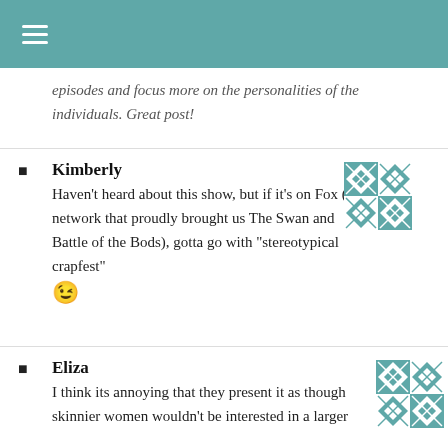≡
episodes and focus more on the personalities of the individuals. Great post!
Kimberly
Haven't heard about this show, but if it's on Fox (the network that proudly brought us The Swan and Battle of the Bods), gotta go with "stereotypical crapfest" 😉
Eliza
I think its annoying that they present it as though skinnier women wouldn't be interested in a larger